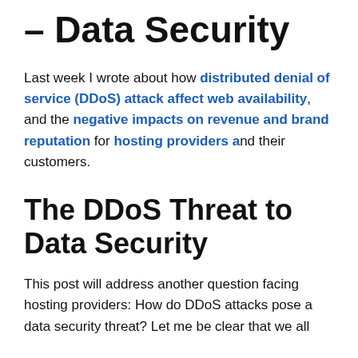– Data Security
Last week I wrote about how distributed denial of service (DDoS) attack affect web availability, and the negative impacts on revenue and brand reputation for hosting providers and their customers.
The DDoS Threat to Data Security
This post will address another question facing hosting providers: How do DDoS attacks pose a data security threat? Let me be clear that we all